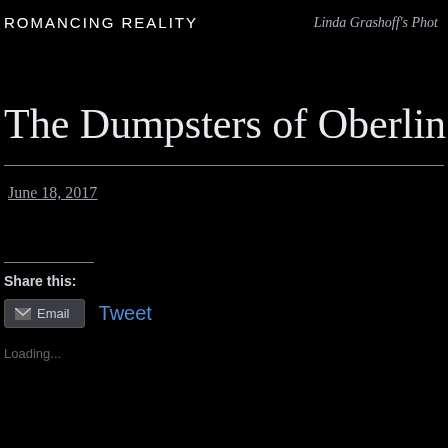ROMANCING REALITY   Linda Grashoff's Phot
The Dumpsters of Oberlin 2
June 18, 2017
Share this:
Email   Tweet
Loading...